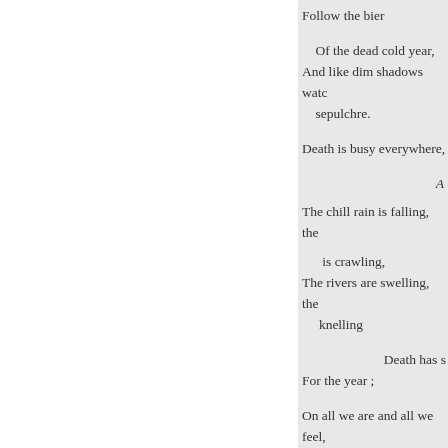Follow the bier

Of the dead cold year,
And like dim shadows watc
sepulchre.

Death is busy everywhere,

A

The chill rain is falling, the

is crawling,
The rivers are swelling, the
knelling

Death has s
For the year ;

On all we are and all we feel,
lizards each gone

To his dwelling;
Come, months, come away;
Put on white, black, and gra
Let your light sisters play-